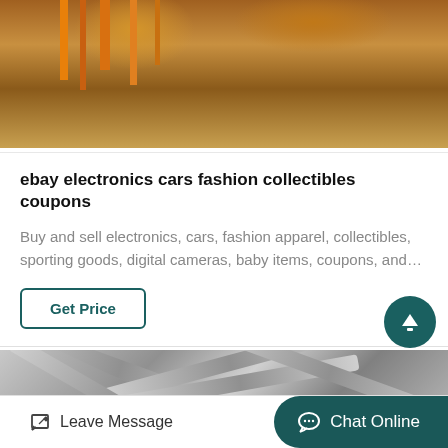[Figure (photo): Construction site with excavation equipment, orange machinery/cranes, sandy terrain with tire tracks]
ebay electronics cars fashion collectibles coupons
Buy and sell electronics, cars, fashion apparel, collectibles, sporting goods, digital cameras, baby items, coupons, and…
Get Price
[Figure (photo): Grayscale photo of structural pipes or tubes arranged in a diagonal crossing pattern]
Leave Message
Chat Online